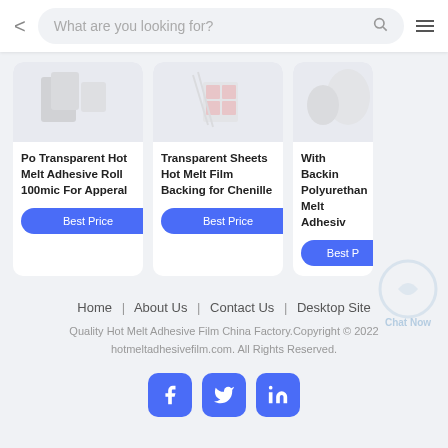[Figure (screenshot): Mobile website header with back arrow, search bar reading 'What are you looking for?', search icon, and hamburger menu icon]
[Figure (screenshot): Three product cards partially visible: 'Po Transparent Hot Melt Adhesive Roll 100mic For Apperal', 'Transparent Sheets Hot Melt Film Backing for Chenille', and a third partially cut off 'With Backing Polyurethane Melt Adhesive'. Each card has a 'Best Price' blue button.]
Home | About Us | Contact Us | Desktop Site
Quality Hot Melt Adhesive Film China Factory.Copyright © 2022 hotmeltadhesivefilm.com. All Rights Reserved.
[Figure (infographic): Social media icons for Facebook, Twitter, and LinkedIn in blue rounded square buttons]